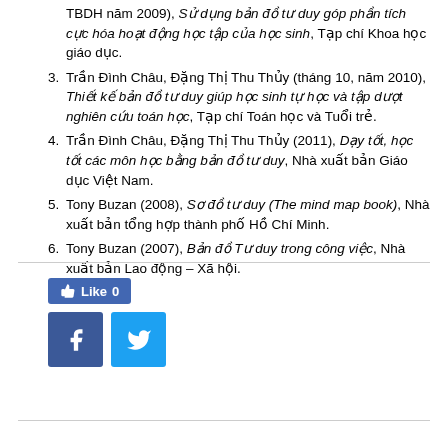TBDH năm 2009), Sử dụng bản đồ tư duy góp phần tích cực hóa hoạt động học tập của học sinh, Tạp chí Khoa học giáo dục.
Trần Đình Châu, Đặng Thị Thu Thủy (tháng 10, năm 2010), Thiết kế bản đồ tư duy giúp học sinh tự học và tập dượt nghiên cứu toán học, Tạp chí Toán học và Tuổi trẻ.
Trần Đình Châu, Đặng Thị Thu Thủy (2011), Dạy tốt, học tốt các môn học bằng bản đồ tư duy, Nhà xuất bản Giáo dục Việt Nam.
Tony Buzan (2008), Sơ đồ tư duy (The mind map book), Nhà xuất bản tổng hợp thành phố Hồ Chí Minh.
Tony Buzan (2007), Bản đồ Tư duy trong công việc, Nhà xuất bản Lao động – Xã hội.
[Figure (other): Facebook Like button showing Like 0, and social share buttons for Facebook and Twitter]